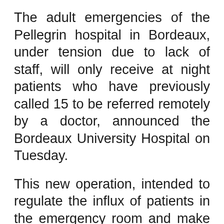The adult emergencies of the Pellegrin hospital in Bordeaux, under tension due to lack of staff, will only receive at night patients who have previously called 15 to be referred remotely by a doctor, announced the Bordeaux University Hospital on Tuesday.
This new operation, intended to regulate the influx of patients in the emergency room and make up for a lack of caregivers, will be put in place from Wednesday every night from 8 p.m. to 8 a.m. and "regularly reassessed", the CHU told AFP. Bordeaux, confirming information from the
Sud Ouest